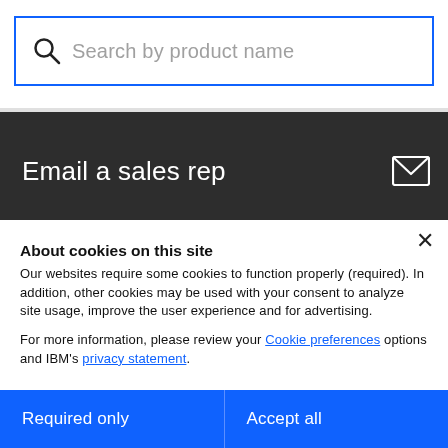[Figure (screenshot): Search input box with blue border, magnifying glass icon, and placeholder text 'Search by product name']
Email a sales rep
[Figure (other): Mail envelope icon in white on dark background]
About cookies on this site
Our websites require some cookies to function properly (required). In addition, other cookies may be used with your consent to analyze site usage, improve the user experience and for advertising.

For more information, please review your Cookie preferences options and IBM's privacy statement.
Required only
Accept all